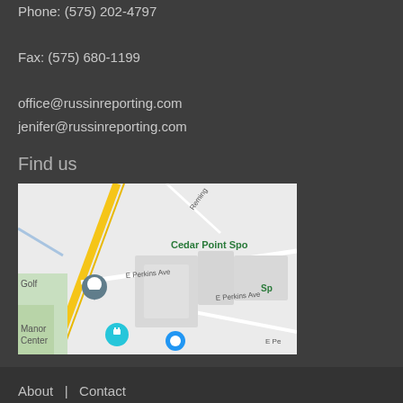Phone: (575) 202-4797
Fax: (575) 680-1199
office@russinreporting.com
jenifer@russinreporting.com
Find us
[Figure (map): Google Maps embed showing E Perkins Ave area with Cedar Point Sports location marker, Manor Center, and surrounding streets including Reming street. A location pin is visible near Golf area.]
About  |  Contact
Copyright © 2015 russinreporting.com All Rights Reserved- Site created by Cheddar Advertising